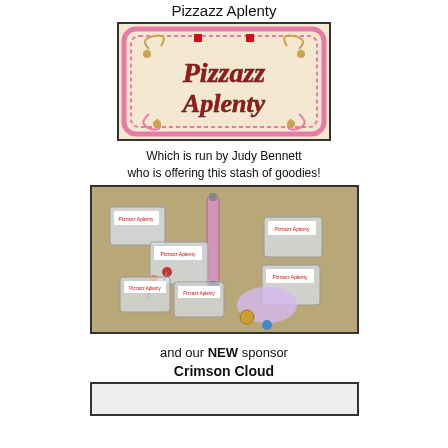Pizzazz Aplenty
[Figure (logo): Pizzazz Aplenty logo with decorative pink border and swirls, red stylized text reading 'Pizzazz Aplenty' on light background]
Which is run by Judy Bennett who is offering this stash of goodies!
[Figure (photo): Photo of a collection of craft goodies from Pizzazz Aplenty including a pink pen, small labeled baggies of crafting supplies, glitter, beads, and other accessories spread on a tan fabric background]
and our NEW sponsor
Crimson Cloud